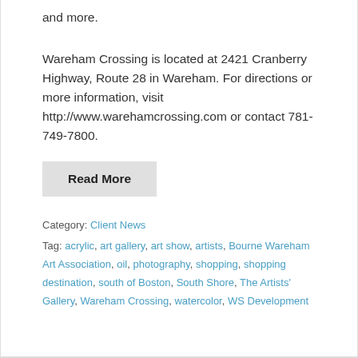and more.
Wareham Crossing is located at 2421 Cranberry Highway, Route 28 in Wareham. For directions or more information, visit http://www.warehamcrossing.com or contact 781-749-7800.
Read More
Category: Client News
Tag: acrylic, art gallery, art show, artists, Bourne Wareham Art Association, oil, photography, shopping, shopping destination, south of Boston, South Shore, The Artists' Gallery, Wareham Crossing, watercolor, WS Development